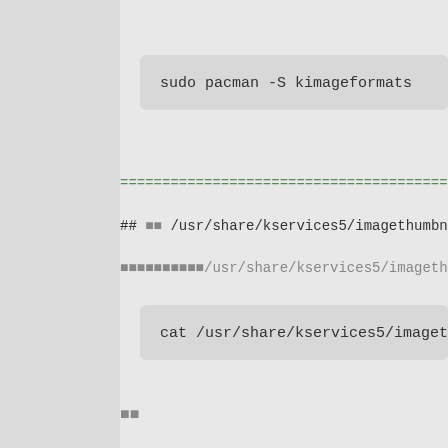sudo pacman -S kimageformats
================================================
## 설정 /usr/share/kservices5/imagethumbnail.deskt
설명설명설명설명설명/usr/share/kservices5/imagethumbnail.d
cat /usr/share/kservices5/imagethumbnail.de
참고